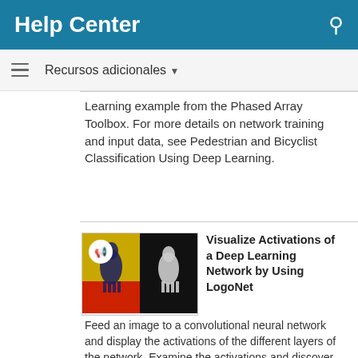Help Center
Recursos adicionales
Learning example from the Phased Array Toolbox. For more details on network training and input data, see Pedestrian and Bicyclist Classification Using Deep Learning.
[Figure (screenshot): Thumbnail showing two horse logos (Ferrari prancing horse) side by side — one on yellow/red background, one on black background. A play/speaker icon badge is in the top-left corner.]
Visualize Activations of a Deep Learning Network by Using LogoNet
Feed an image to a convolutional neural network and display the activations of the different layers of the network. Examine the activations and discover which features the network learns by comparing areas of activation to the original image. Channels in earlier layers learn simple features like edges and colors